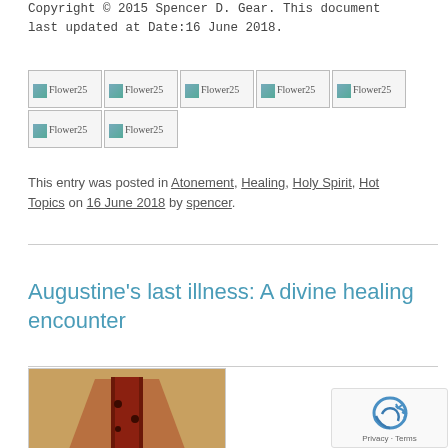Copyright © 2015 Spencer D. Gear. This document last updated at Date:16 June 2018.
[Figure (illustration): Seven broken image placeholders labeled Flower25 arranged in two rows (5 on top, 2 on bottom)]
This entry was posted in Atonement, Healing, Holy Spirit, Hot Topics on 16 June 2018 by spencer.
Augustine's last illness: A divine healing encounter
[Figure (photo): A photograph of what appears to be a wooden or carved artifact with reddish-brown tones, partially visible at the bottom of the page]